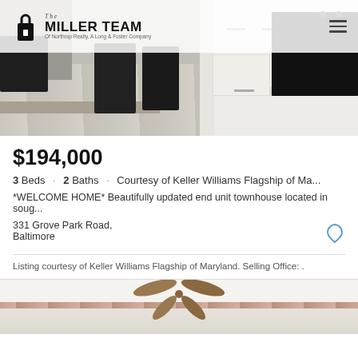[Figure (photo): Kitchen interior photo showing dining table with chairs on left, stainless steel trash can, black refrigerator, white cabinets and countertops with black stove on right, light hardwood floors]
The MILLER TEAM Of Northrop Realty, A Long & Foster Company
$194,000
3 Beds · 2 Baths · Courtesy of Keller Williams Flagship of Ma...
*WELCOME HOME* Beautifully updated end unit townhouse located in soug...
331 Grove Park Road,
Baltimore
Listing courtesy of Keller Williams Flagship of Maryland. Selling Office: .
[Figure (photo): Interior ceiling photo showing ceiling fan with decorative blades and ornamental border trim]